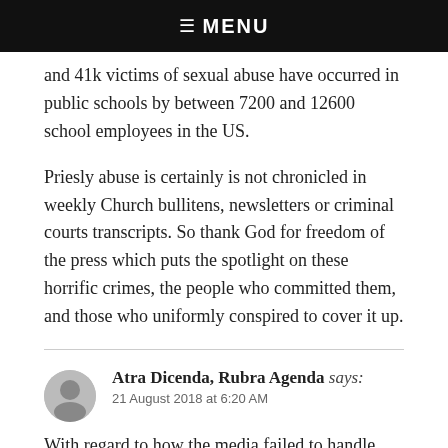☰ MENU
and 41k victims of sexual abuse have occurred in public schools by between 7200 and 12600 school employees in the US.
Priesly abuse is certainly is not chronicled in weekly Church bullitens, newsletters or criminal courts transcripts. So thank God for freedom of the press which puts the spotlight on these horrific crimes, the people who committed them, and those who uniformly conspired to cover it up.
Atra Dicenda, Rubra Agenda says:
21 August 2018 at 6:20 AM
With regard to how the media failed to handle these issues, I found both of these articles informative (you may have already read them).